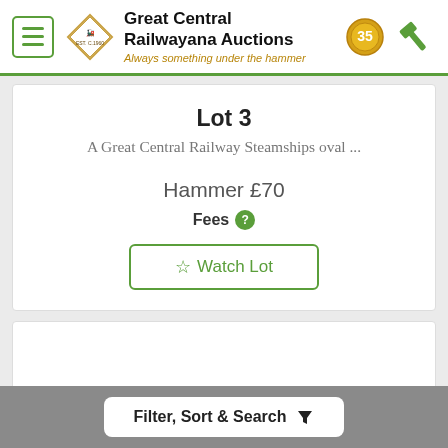Great Central Railwayana Auctions — Always something under the hammer
Lot 3
A Great Central Railway Steamships oval ...
Hammer £70
Fees
Watch Lot
Filter, Sort & Search